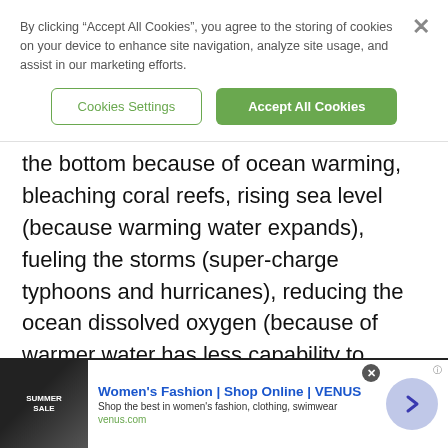By clicking “Accept All Cookies”, you agree to the storing of cookies on your device to enhance site navigation, analyze site usage, and assist in our marketing efforts.
Cookies Settings | Accept All Cookies
the bottom because of ocean warming, bleaching coral reefs, rising sea level (because warming water expands), fueling the storms (super-charge typhoons and hurricanes), reducing the ocean dissolved oxygen (because of warmer water has less capability to dissolve oxygen), increase extremes such as marine heat waves etc. These stresses caused by ocean environmental changes clearly pose high risks
[Figure (screenshot): Advertisement banner for Women's Fashion | Shop Online | VENUS. Shows a sale image on the left, ad text in the middle with title 'Women's Fashion | Shop Online | VENUS', subtitle 'Shop the best in women's fashion, clothing, swimwear', URL 'venus.com', and a circular arrow button on the right.]